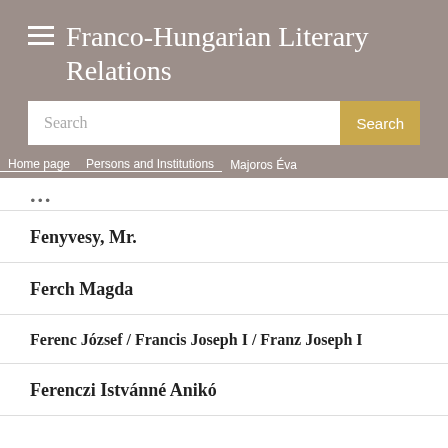Franco-Hungarian Literary Relations
Search
Home page / Persons and Institutions / Majoros Éva
Fenyvesy, Mr.
Ferch Magda
Ferenc József / Francis Joseph I / Franz Joseph I
Ferenczi Istvánné Anikó